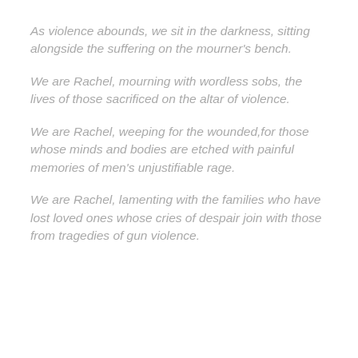As violence abounds, we sit in the darkness, sitting alongside the suffering on the mourner's bench.
We are Rachel, mourning with wordless sobs, the lives of those sacrificed on the altar of violence.
We are Rachel, weeping for the wounded,for those whose minds and bodies are etched with painful memories of men's unjustifiable rage.
We are Rachel, lamenting with the families who have lost loved ones whose cries of despair join with those from tragedies of gun violence.